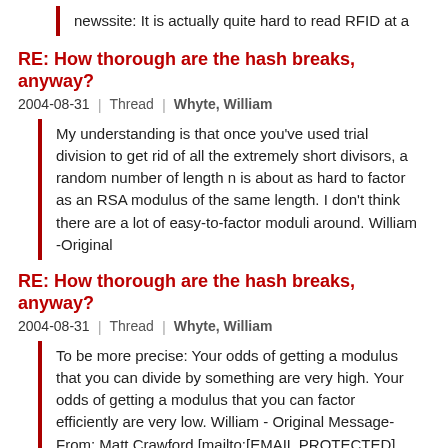newssite: It is actually quite hard to read RFID at a
RE: How thorough are the hash breaks, anyway?
2004-08-31 | Thread | Whyte, William
My understanding is that once you've used trial division to get rid of all the extremely short divisors, a random number of length n is about as hard to factor as an RSA modulus of the same length. I don't think there are a lot of easy-to-factor moduli around. William -Original
RE: How thorough are the hash breaks, anyway?
2004-08-31 | Thread | Whyte, William
To be more precise: Your odds of getting a modulus that you can divide by something are very high. Your odds of getting a modulus that you can factor efficiently are very low. William - Original Message- From: Matt Crawford [mailto:[EMAIL PROTECTED] Sent: Monday, August 30, 2004 11:47
RE: SSL
2003-07-10 | Thread | Whyte, William
[ Jill ] Instead, I have a different question: Where can I learn about SSL? [ Ian ] PS: next step is Ferguson Schneier's recent book which has been described as how to re-invent